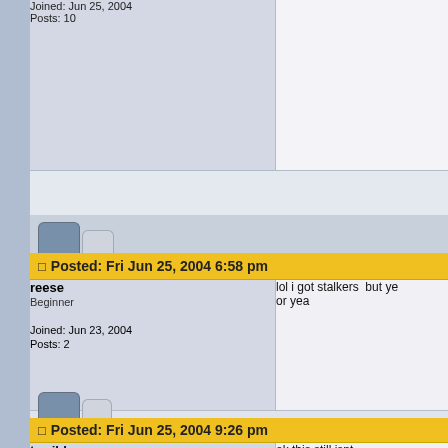Joined: Jun 25, 2004
Posts: 10
Posted: Fri Jun 25, 2004 6:58 pm
reese
Beginner
Joined: Jun 23, 2004
Posts: 2
lol i got stalkers  but ye or yea
Posted: Fri Jun 25, 2004 9:26 pm
terrible one
Regular user
ok this still isnt do ya think u co